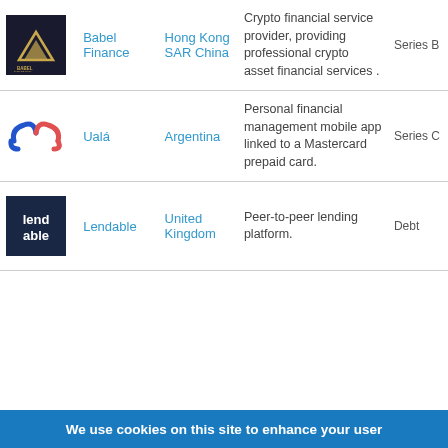| Logo | Company | Country | Description | Stage |
| --- | --- | --- | --- | --- |
| [Babel Finance logo] | Babel Finance | Hong Kong SAR China | Crypto financial service provider, providing professional crypto asset financial services . | Series B |
| [Uala logo] | Ualá | Argentina | Personal financial management mobile app linked to a Mastercard prepaid card. | Series C |
| [Lendable logo] | Lendable | United Kingdom | Peer-to-peer lending platform. | Debt |
We use cookies on this site to enhance your user